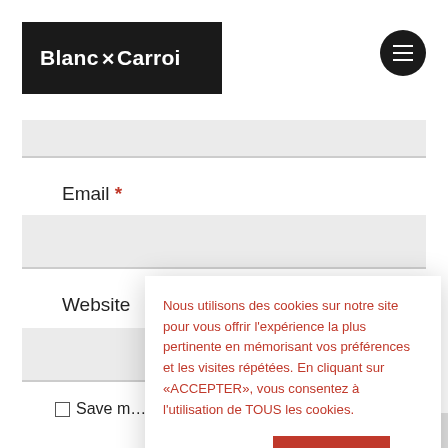[Figure (logo): Blanc N Carroi logo on black background header bar]
[Figure (other): Hamburger menu button (three horizontal lines) on dark circular background]
Email *
Website
Save n... this brow...
Nous utilisons des cookies sur notre site pour vous offrir l'expérience la plus pertinente en mémorisant vos préférences et les visites répétées. En cliquant sur «ACCEPTER», vous consentez à l'utilisation de TOUS les cookies.
Mentions légales
ACCEPTER